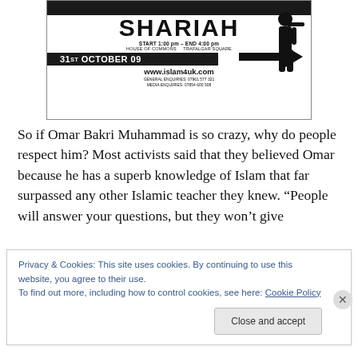[Figure (photo): A black and white poster for a Shariah march event. Text reads: SHARIAH, START 1:00 pm - END 4:00 pm, HOUSE OF COMMONS, TRAFALGAR SQUARE, 31ST OCTOBER 09, www.islam4uk.com, with contact information and a silhouette figure with an arrow.]
So if Omar Bakri Muhammad is so crazy, why do people respect him? Most activists said that they believed Omar because he has a superb knowledge of Islam that far surpassed any other Islamic teacher they knew. “People will answer your questions, but they won’t give
Privacy & Cookies: This site uses cookies. By continuing to use this website, you agree to their use.
To find out more, including how to control cookies, see here: Cookie Policy
Close and accept